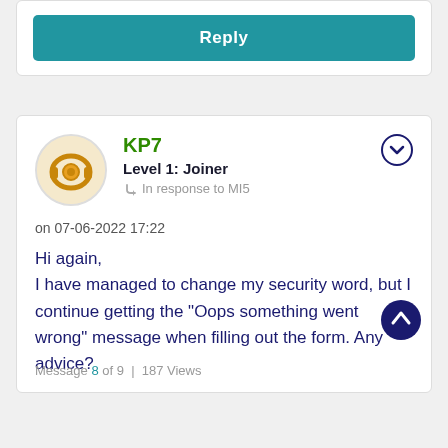[Figure (other): Reply button — teal/blue rounded rectangle button with white bold text 'Reply']
[Figure (other): Forum comment card with user KP7 (Level 1: Joiner), avatar showing headphones icon, in-response-to MI5, timestamp 07-06-2022 17:22, message text: 'Hi again, I have managed to change my security word, but I continue getting the "Oops something went wrong" message when filling out the form. Any advice?', and footer 'Message 8 of 9 | 187 Views']